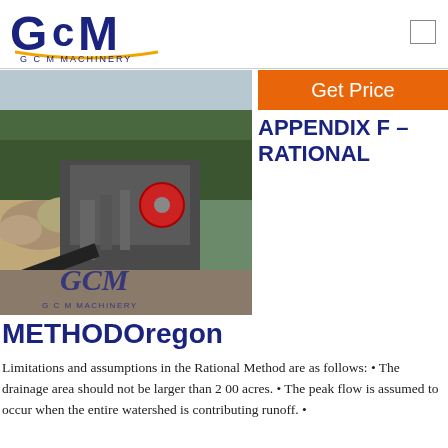[Figure (logo): GCM Machinery logo with stylized G C M letters in dark blue and gold arc underline, text 'G C M  MACHINERY' below]
[Figure (photo): Industrial stone crushing machinery at a quarry site with GCM logo watermark]
Get Price
APPENDIX F – RATIONAL
METHODOregon
Limitations and assumptions in the Rational Method are as follows: • The drainage area should not be larger than 2 00 acres. • The peak flow is assumed to occur when the entire watershed is contributing runoff. •